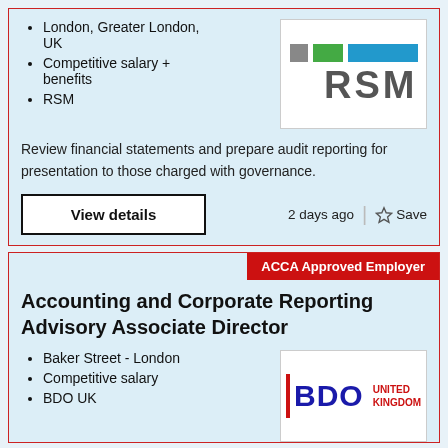London, Greater London, UK
Competitive salary + benefits
RSM
[Figure (logo): RSM logo with grey, green and blue squares above bold grey RSM text]
Review financial statements and prepare audit reporting for presentation to those charged with governance.
View details
2 days ago | ☆ Save
ACCA Approved Employer
Accounting and Corporate Reporting Advisory Associate Director
Baker Street - London
Competitive salary
BDO UK
[Figure (logo): BDO United Kingdom logo with blue BDO text and red UNITED KINGDOM text]